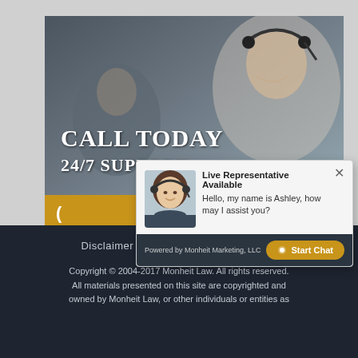[Figure (screenshot): Screenshot of a law firm website with a banner showing a customer service representative wearing a headset, with text 'CALL TODAY' and '24/7 SUPPORT' overlaid on the image, and a gold bar at the bottom showing a phone number beginning with an open parenthesis. A live chat popup is overlaid on the screen showing a female avatar labeled 'Ashley' with the message 'Live Representative Available Hello, my name is Ashley, how may I assist you?' and a gold 'Start Chat' button. The popup footer reads 'Powered by Monheit Marketing, LLC'.]
Disclaimer | Privacy Policy | Sitemap
Copyright © 2004-2017 Monheit Law. All rights reserved. All materials presented on this site are copyrighted and owned by Monheit Law, or other individuals or entities as